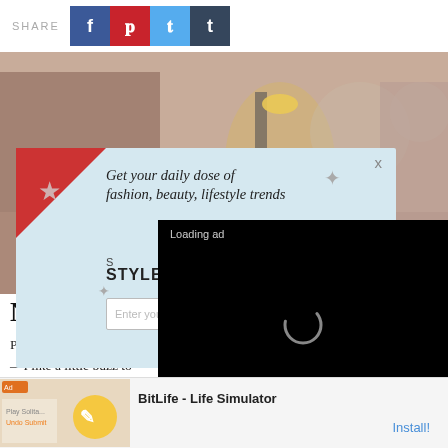[Figure (screenshot): Share bar with Facebook, Pinterest, Twitter, Tumblr social media buttons]
[Figure (photo): Hero photo of woman holding drink at a bar, warm tones]
[Figure (screenshot): StyleCaster newsletter signup popup overlay with text: 'Get your daily dose of fashion, beauty, lifestyle trends' and email input field]
No Th
Pre-pan
—I like a little buzz to
flowing! But according to Bumble's dating predictions for the year ahead, the ways in which we tie together drinking and dating have shifted. Now, 34 percent of people globally
[Figure (screenshot): Video ad overlay showing 'Loading ad' with loading spinner and playback controls on black background]
[Figure (screenshot): Bottom banner ad for BitLife - Life Simulator app with Install button]